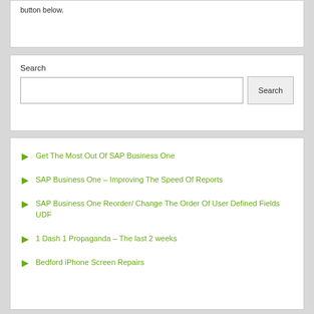button below.
Search
Get The Most Out Of SAP Business One
SAP Business One – Improving The Speed Of Reports
SAP Business One Reorder/ Change The Order Of User Defined Fields UDF
1 Dash 1 Propaganda – The last 2 weeks
Bedford iPhone Screen Repairs